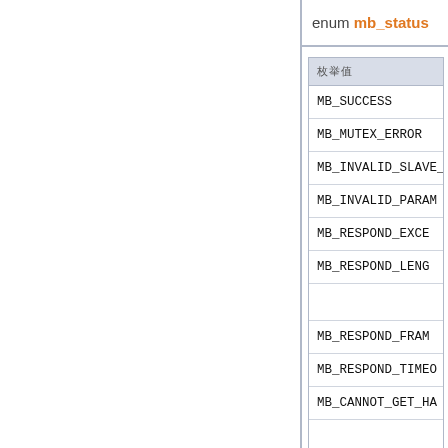enum mb_status
| 枚举值 |
| --- |
| MB_SUCCESS |
| MB_MUTEX_ERROR |
| MB_INVALID_SLAVE_A… |
| MB_INVALID_PARAM |
| MB_RESPOND_EXCE… |
| MB_RESPOND_LENG… |
| MB_RESPOND_FRAM… |
| MB_RESPOND_TIMEO… |
| MB_CANNOT_GET_HA… |
| MB_SLAVE_NO_RESP… |